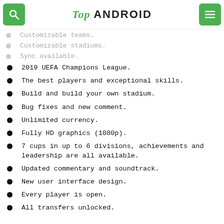TOP ANDROID
Customizable teams.
Customizable stadiums.
Sync available.
2019 UEFA Champions League.
The best players and exceptional skills.
Build and build your own stadium.
Bug fixes and new comment.
Unlimited currency.
Fully HD graphics (1080p).
7 cups in up to 6 divisions, achievements and leadership are all available.
Updated commentary and soundtrack.
New user interface design.
Every player is open.
All transfers unlocked.